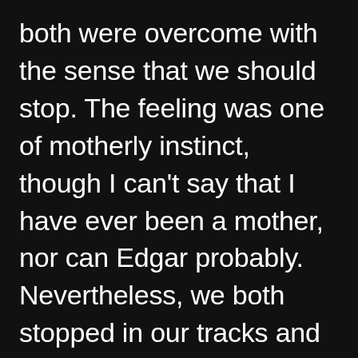both were overcome with the sense that we should stop. The feeling was one of motherly instinct, though I can't say that I have ever been a mother, nor can Edgar probably. Nevertheless, we both stopped in our tracks and listened. Our dear Mary was performing susurrations that intrigued us, though we could not understand or draw upon that portion of her